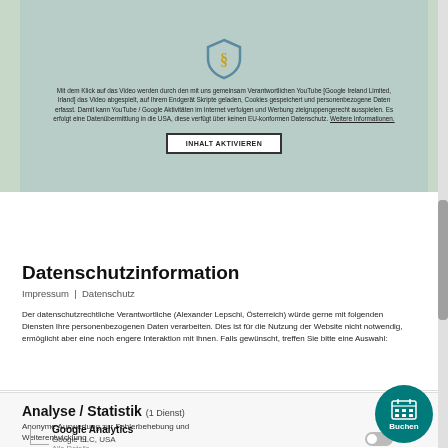[Figure (screenshot): YouTube/Google video placeholder with shield icon, cookie/privacy warning text in German, and 'INHALT AKTIVIEREN' button on a muted green-gray background.]
Datenschutzinformation
Impressum | Datenschutz
Der datenschutzrechtliche Verantwortliche (Alexander Lepschi, Österreich) würde gerne mit folgenden Diensten Ihre personenbezogenen Daten verarbeiten. Dies ist für die Nutzung der Website nicht notwendig, ermöglicht aber eine noch engere Interaktion mit Ihnen. Falls gewünscht, treffen Sie bitte eine Auswahl:
Analyse / Statistik (1 Dienst)
Anonyme Auswertung zur Fehlerbehebung und Weiterentwicklung
Google Analytics
Google LLC, USA
Alle Details